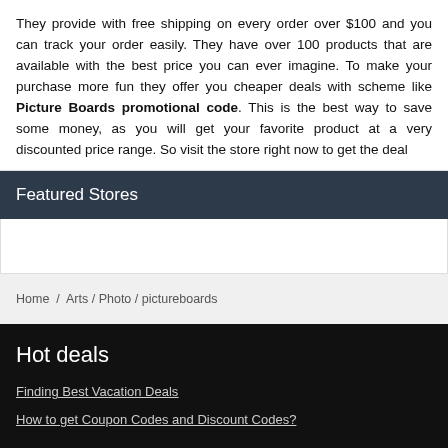They provide with free shipping on every order over $100 and you can track your order easily. They have over 100 products that are available with the best price you can ever imagine. To make your purchase more fun they offer you cheaper deals with scheme like Picture Boards promotional code. This is the best way to save some money, as you will get your favorite product at a very discounted price range. So visit the store right now to get the deal
Featured Stores
Home / Arts / Photo / pictureboards
Hot deals
Finding Best Vacation Deals
How to get Coupon Codes and Discount Codes?